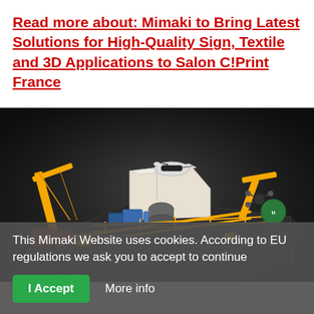Read more about: Mimaki to Bring Latest Solutions for High-Quality Sign, Textile and 3D Applications to Salon C!Print France
[Figure (photo): A colorful 3D-printed scale model of an offshore oil platform with orange cranes, yellow safety rails, blue equipment modules, a helipad on top of a white building, and drones, set against a dark background.]
This Mimaki Website uses cookies. According to EU regulations we ask you to accept to continue